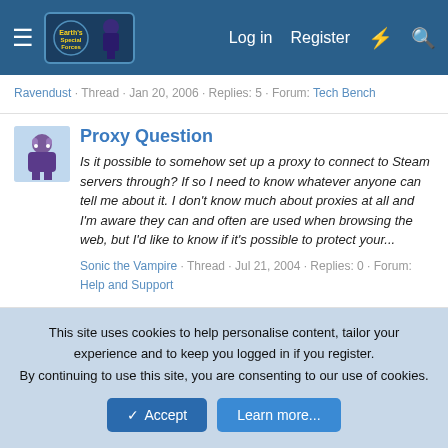Earth's Special Forces forum header with Log in, Register, and search navigation
Ravendust · Thread · Jan 20, 2006 · Replies: 5 · Forum: Tech Bench
Proxy Question
Is it possible to somehow set up a proxy to connect to Steam servers through? If so I need to know whatever anyone can tell me about it. I don't know much about proxies at all and I'm aware they can and often are used when browsing the web, but I'd like to know if it's possible to protect your...
Sonic the Vampire · Thread · Jul 21, 2004 · Replies: 0 · Forum: Help and Support
< Tags
ESF
This site uses cookies to help personalise content, tailor your experience and to keep you logged in if you register.
By continuing to use this site, you are consenting to our use of cookies.
Accept   Learn more...